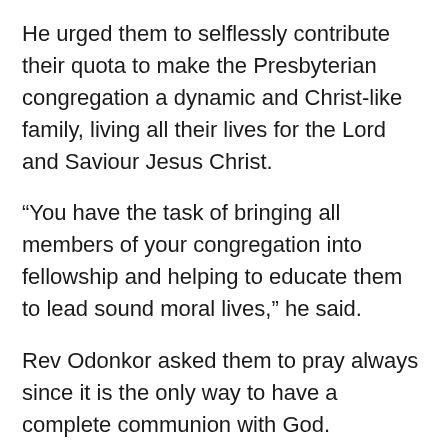He urged them to selflessly contribute their quota to make the Presbyterian congregation a dynamic and Christ-like family, living all their lives for the Lord and Saviour Jesus Christ.
“You have the task of bringing all members of your congregation into fellowship and helping to educate them to lead sound moral lives,” he said.
Rev Odonkor asked them to pray always since it is the only way to have a complete communion with God.
He reminded the ministers that they had the greatest challenge of campaigning against vices